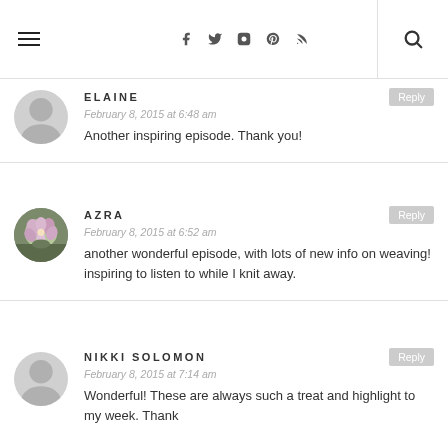Navigation bar with hamburger menu, social icons (Facebook, Twitter, Instagram, Pinterest, RSS), and search icon
ELAINE
February 8, 2015 at 6:48 am
Another inspiring episode. Thank you!
AZRA
February 8, 2015 at 6:52 am
another wonderful episode, with lots of new info on weaving! inspiring to listen to while I knit away.
NIKKI SOLOMON
February 8, 2015 at 7:14 am
Wonderful! These are always such a treat and highlight to my week. Thank